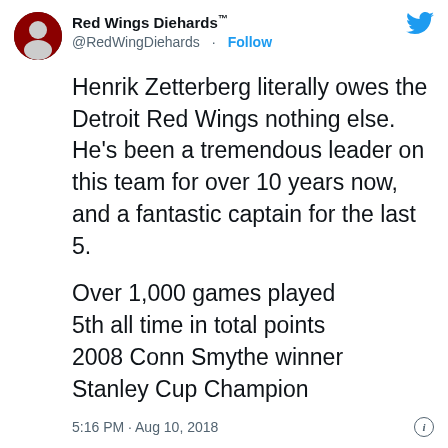[Figure (screenshot): Twitter/X profile avatar for Red Wings Diehards account, circular photo showing hockey-related imagery]
Red Wings Diehards™
@RedWingDiehards · Follow
[Figure (logo): Twitter bird logo in blue, top right]
Henrik Zetterberg literally owes the Detroit Red Wings nothing else. He's been a tremendous leader on this team for over 10 years now, and a fantastic captain for the last 5.

Over 1,000 games played
5th all time in total points
2008 Conn Smythe winner
Stanley Cup Champion
5:16 PM · Aug 10, 2018
[Figure (photo): Small circular avatar of Red Wings Diehards account]
Read the full conversation on Twitter
423  Reply  Copy link
Read 9 replies